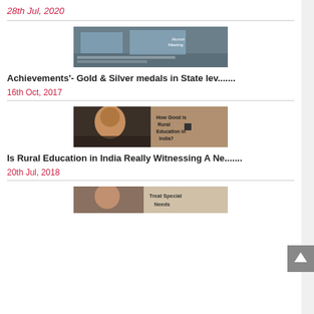28th Jul, 2020
[Figure (photo): Outdoor event with banners and people]
Achievements'- Gold & Silver medals in State lev.......
16th Oct, 2017
[Figure (photo): Smiling child with text overlay: How Good is Rural Education in India?]
Is Rural Education in India Really Witnessing A Ne.......
20th Jul, 2018
[Figure (photo): Child with text overlay: Treat Special Needs]